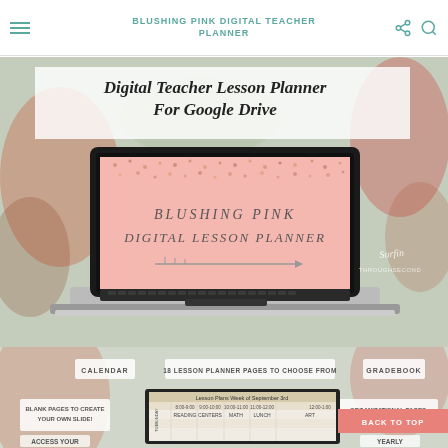BLUSHING PINK DIGITAL TEACHER PLANNER
[Figure (screenshot): Laptop displaying 'Digital Teacher Lesson Planner For Google Drive' with Blushing Pink Digital Lesson Planner cover showing pink confetti background and arrow design. Branded with Surfin Through Second.]
[Figure (screenshot): Second product preview showing calendar, gradebook, organizational pages, blank pages to create your own slide, 18 lesson planner pages to choose from, access your content, yearly labels, and a lesson plan table for week of September 3rd.]